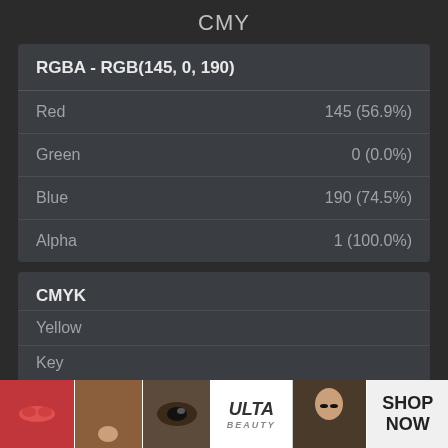CMY
| RGBA - RGB(145, 0, 190) |  |
| --- | --- |
| Red | 145 (56.9%) |
| Green | 0 (0.0%) |
| Blue | 190 (74.5%) |
| Alpha | 1 (100.0%) |
| CMYK |  |
| --- | --- |
| Cyan | 23.68 %. |
| Magenta | 100.00 %. |
| Yellow |  |
| Key |  |
[Figure (photo): Advertisement banner for ULTA beauty showing cosmetic product images and 'SHOP NOW' call to action]